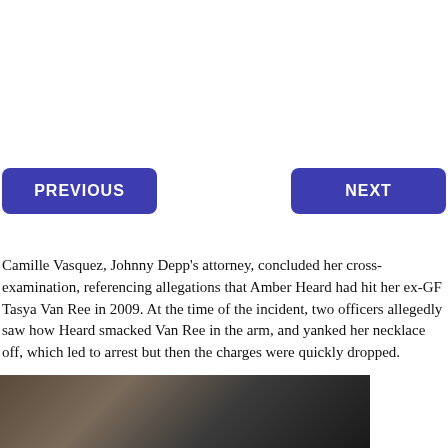[Figure (other): PREVIOUS navigation button (blue rounded rectangle)]
[Figure (other): NEXT navigation button (blue rounded rectangle)]
Camille Vasquez, Johnny Depp's attorney, concluded her cross-examination, referencing allegations that Amber Heard had hit her ex-GF Tasya Van Ree in 2009. At the time of the incident, two officers allegedly saw how Heard smacked Van Ree in the arm, and yanked her necklace off, which led to arrest but then the charges were quickly dropped.
[Figure (photo): Partial photograph showing people, partially cropped at the bottom of the page]